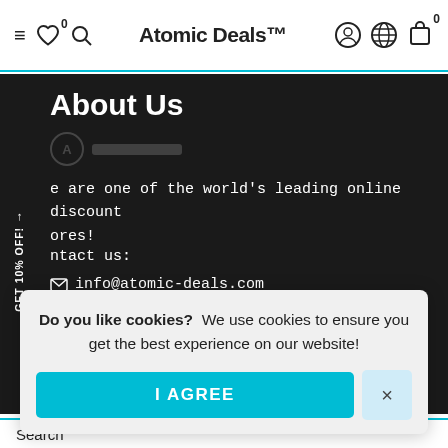Atomic Deals™
About Us
e are one of the world's leading online discount ores!
ntact us:
info@atomic-deals.com
Do you like cookies? We use cookies to ensure you get the best experience on our website!
I AGREE
Search